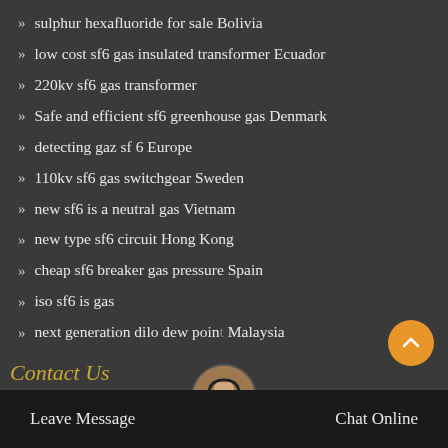sulphur hexafluoride for sale Bolivia
low cost sf6 gas insulated transformer Ecuador
220kv sf6 gas transformer
Safe and efficient sf6 greenhouse gas Denmark
detecting gaz sf 6 Europe
110kv sf6 gas switchgear Sweden
new sf6 is a neutral gas Vietnam
new type sf6 circuit Hong Kong
cheap sf6 breaker gas pressure Spain
iso sf6 is gas
next generation dilo dew point Malaysia
Leave Message   Chat Online